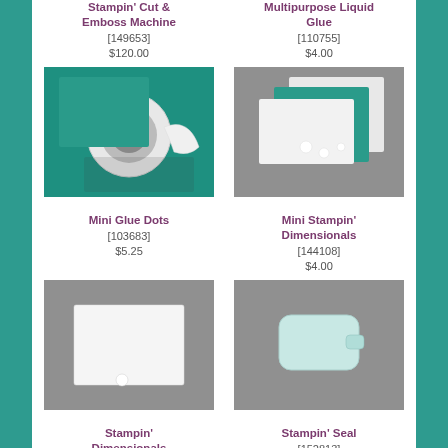Stampin' Cut & Emboss Machine [149653] $120.00
Multipurpose Liquid Glue [110755] $4.00
[Figure (photo): Mini Glue Dots product photo on teal background]
Mini Glue Dots [103683] $5.25
[Figure (photo): Mini Stampin' Dimensionals product photo on gray background]
Mini Stampin' Dimensionals [144108] $4.00
[Figure (photo): Stampin' Dimensionals product photo on gray background]
Stampin' Dimensionals [104430]
[Figure (photo): Stampin' Seal product photo on gray background]
Stampin' Seal [152813] $8.00